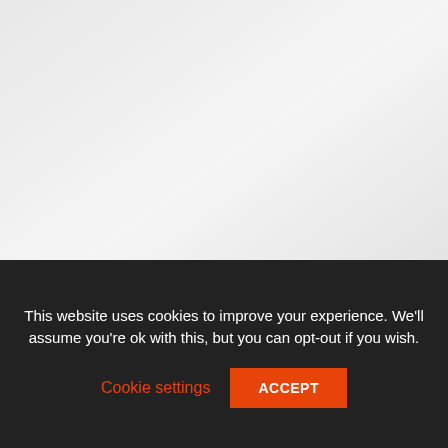[Figure (photo): Light grey placeholder image for an article about health and sleep habits]
HEALTH
Top 10 Bizarre Sleep Habits of the Rich
[Figure (photo): Light grey placeholder image for a second article]
This website uses cookies to improve your experience. We'll assume you're ok with this, but you can opt-out if you wish.
Cookie settings
ACCEPT